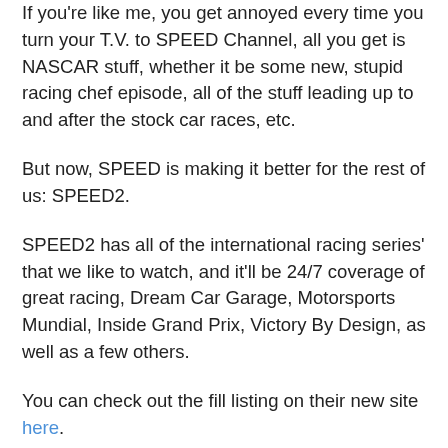If you're like me, you get annoyed every time you turn your T.V. to SPEED Channel, all you get is NASCAR stuff, whether it be some new, stupid racing chef episode, all of the stuff leading up to and after the stock car races, etc.
But now, SPEED is making it better for the rest of us: SPEED2.
SPEED2 has all of the international racing series' that we like to watch, and it'll be 24/7 coverage of great racing, Dream Car Garage, Motorsports Mundial, Inside Grand Prix, Victory By Design, as well as a few others.
You can check out the fill listing on their new site here.
Unfortunately, for the time being, you can only watch the programs online, but if you're like me, you've got HDMI out on your laptop or computer, and you can plug right into your